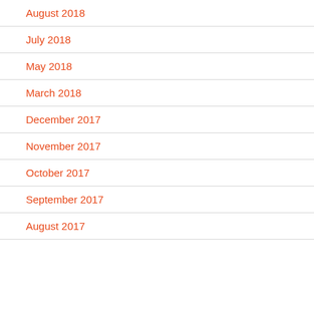August 2018
July 2018
May 2018
March 2018
December 2017
November 2017
October 2017
September 2017
August 2017